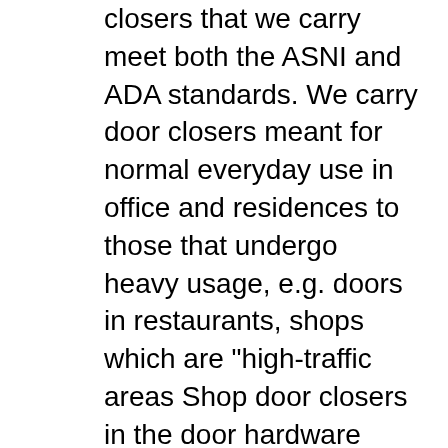closers that we carry meet both the ASNI and ADA standards. We carry door closers meant for normal everyday use in office and residences to those that undergo heavy usage, e.g. doors in restaurants, shops which are "high-traffic areas Shop door closers in the door hardware section of Lowes.com. Find quality door closers online or in store.
Regular Door Closer Arm Global RA-1240 Doorware.com. The Falcon family of door closers includes the overhead concealed closer for storefront applications. It also includes high quality surface closers for your cost sensitive projects. Closers in this section